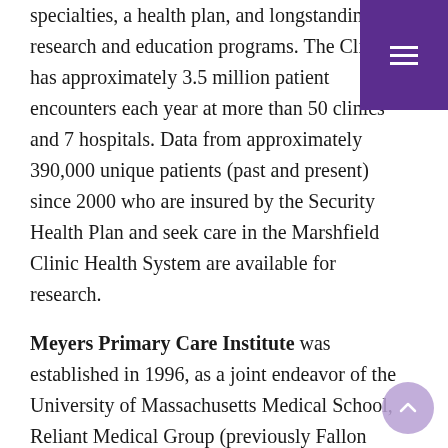specialties, a health plan, and longstanding research and education programs. The Clinic has approximately 3.5 million patient encounters each year at more than 50 clinics and 7 hospitals. Data from approximately 390,000 unique patients (past and present) since 2000 who are insured by the Security Health Plan and seek care in the Marshfield Clinic Health System are available for research.
Meyers Primary Care Institute was established in 1996, as a joint endeavor of the University of Massachusetts Medical School, Reliant Medical Group (previously Fallon Clinic), and Fallon Health. The Institute is committed to research across the lifespan, from childhood to advanced age and conducts population-based research to inform policy and practice, promoting evidence-based care for the benefit of our community, and beyond. As a Network Partner, Meyers has access to claims data from 207,000 current members of Fallon Health